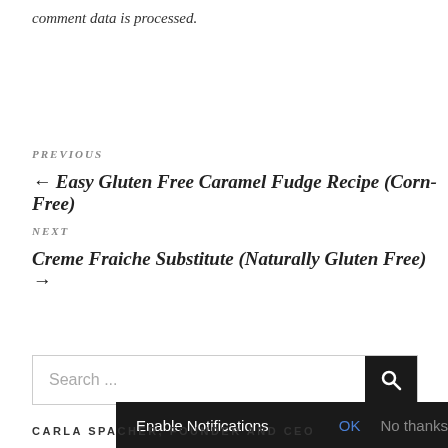comment data is processed.
PREVIOUS
← Easy Gluten Free Caramel Fudge Recipe (Corn-Free)
NEXT
Creme Fraiche Substitute (Naturally Gluten Free) →
Search ...
Enable Notifications OK No thanks
CARLA SPACHER, FOUNDER AND CEO